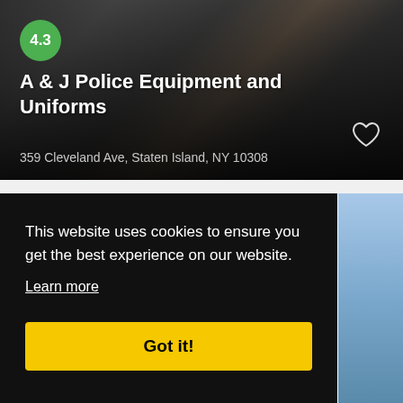[Figure (photo): Interior of A & J Police Equipment and Uniforms store, showing merchandise on shelves and racks, dark interior with equipment visible]
4.3
A & J Police Equipment and Uniforms
359 Cleveland Ave, Staten Island, NY 10308
This website uses cookies to ensure you get the best experience on our website.
Learn more
Got it!
65-14 Metropolitan Ave, Queens, NY